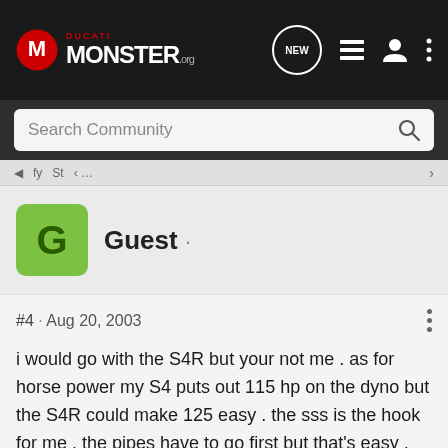Ducati Monster.org — Navigation bar with logo, NEW, list, user, and menu icons
Search Community
Guest · #4 · Aug 20, 2003
i would go with the S4R but your not me . as for horse power my S4 puts out 115 hp on the dyno but the S4R could make 125 easy . the sss is the hook for me . the pipes have to go first but that's easy , it's just more money . the new handlebars are nice i like them . i would get the S4R and then spend about 6000$ on aftermarket parts making it a real monster [smiley=waytogo.gif]
Reply  Quote